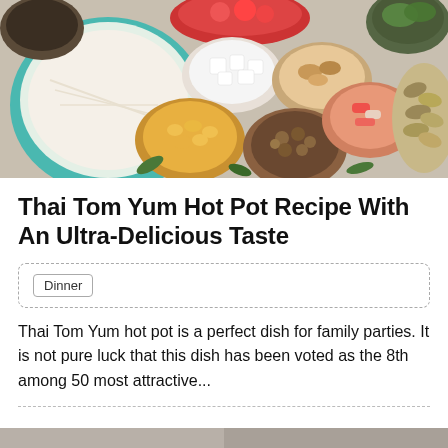[Figure (photo): Overhead view of various bowls containing Thai hot pot ingredients including rice noodles, mushrooms, shellfish, vegetables, nuts, and other toppings arranged on a table.]
Thai Tom Yum Hot Pot Recipe With An Ultra-Delicious Taste
Dinner
Thai Tom Yum hot pot is a perfect dish for family parties. It is not pure luck that this dish has been voted as the 8th among 50 most attractive...